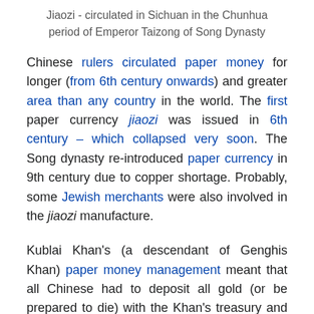Jiaozi - circulated in Sichuan in the Chunhua period of Emperor Taizong of Song Dynasty
Chinese rulers circulated paper money for longer (from 6th century onwards) and greater area than any country in the world. The first paper currency jiaozi was issued in 6th century – which collapsed very soon. The Song dynasty re-introduced paper currency in 9th century due to copper shortage. Probably, some Jewish merchants were also involved in the jiaozi manufacture.
Kublai Khan's (a descendant of Genghis Khan) paper money management meant that all Chinese had to deposit all gold (or be prepared to die) with the Khan's treasury and they got a currency note which was trade-able. This 'system' received wide publicity in Europe (thanks to